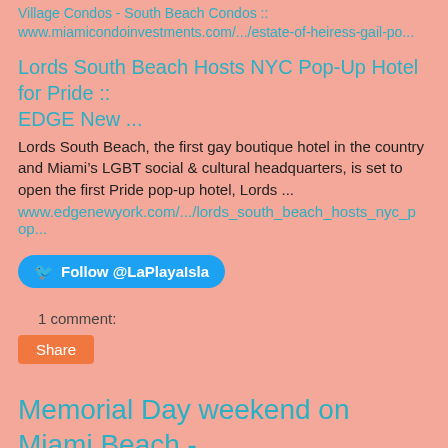Village Condos - South Beach Condos :: www.miamicondoinvestments.com/.../estate-of-heiress-gail-po...
Lords South Beach Hosts NYC Pop-Up Hotel for Pride :: EDGE New ...
Lords South Beach, the first gay boutique hotel in the country and Miami’s LGBT social & cultural headquarters, is set to open the first Pride pop-up hotel, Lords ...
www.edgenewyork.com/.../lords_south_beach_hosts_nyc_pop...
[Figure (other): Twitter Follow button for @LaPlayaIsla]
1 comment:
[Figure (other): Share button (orange)]
Memorial Day weekend on Miami Beach - mixed reviews